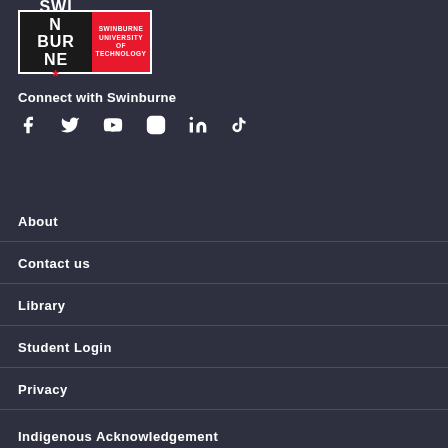[Figure (logo): Swinburne University of Technology logo — black left panel with SWINBURNE in white block letters, red right panel with SWINBURNE UNIVERSITY OF TECHNOLOGY text]
Connect with Swinburne
[Figure (infographic): Social media icons row: Facebook, Twitter, YouTube, Instagram, LinkedIn, TikTok]
About
Contact us
Library
Student Login
Privacy
Indigenous Acknowledgement